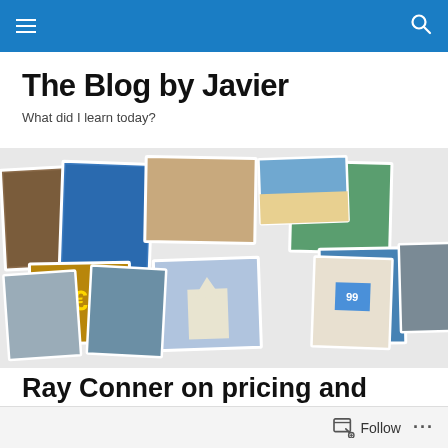Navigation bar with menu and search icons
The Blog by Javier
What did I learn today?
[Figure (photo): A collage of travel photos showing various destinations and people, including landmarks, beaches, cities, and outdoor activities.]
Ray Conner on pricing and Boeing discounts
Follow  ...